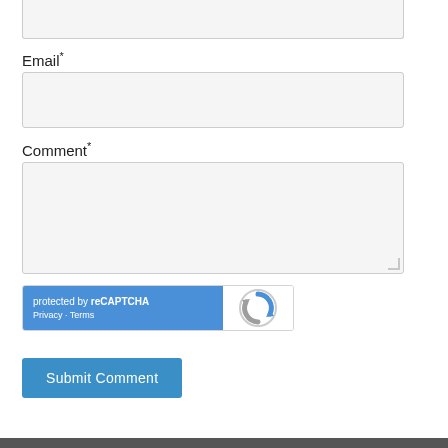[Figure (screenshot): Top portion of a form input box (partially visible at top of page)]
Email *
[Figure (screenshot): Email input text field (empty, light gray background)]
Comment *
[Figure (screenshot): Comment textarea input field (empty, light gray background, resizable)]
[Figure (screenshot): reCAPTCHA widget with blue background showing 'protected by reCAPTCHA', Privacy and Terms links, and reCAPTCHA logo]
[Figure (screenshot): Submit Comment button in blue]